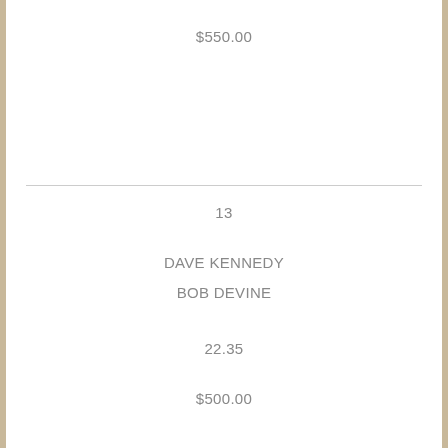$550.00
13
DAVE KENNEDY
BOB DEVINE
22.35
$500.00